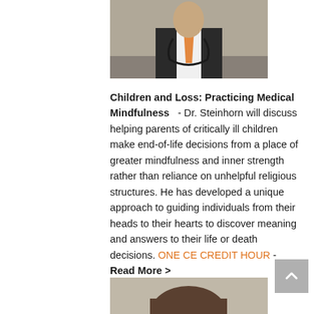[Figure (photo): Photo of a man in clerical/medical attire with a stethoscope, wearing an orange tie]
Children and Loss: Practicing Medical Mindfulness - Dr. Steinhorn will discuss helping parents of critically ill children make end-of-life decisions from a place of greater mindfulness and inner strength rather than reliance on unhelpful religious structures. He has developed a unique approach to guiding individuals from their heads to their hearts to discover meaning and answers to their life or death decisions. ONE CE CREDIT HOUR - Read More >
[Figure (photo): Partial photo of a person visible at the bottom of the page]